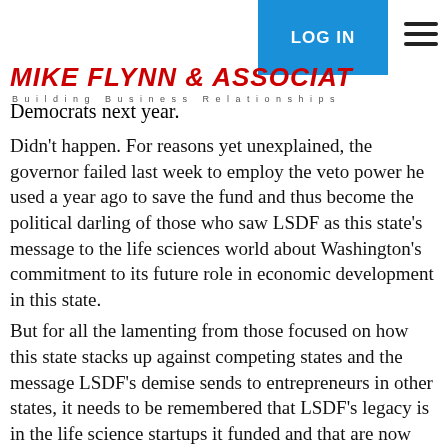MIKE FLYNN & ASSOCIATES — LOG IN — Building Business Relationships
Democrats next year.
Didn't happen. For reasons yet unexplained, the governor failed last week to employ the veto power he used a year ago to save the fund and thus become the political darling of those who saw LSDF as this state's message to the life sciences world about Washington's commitment to its future role in economic development in this state.
But for all the lamenting from those focused on how this state stacks up against competing states and the message LSDF's demise sends to entrepreneurs in other states, it needs to be remembered that LSDF's legacy is in the life science startups it funded and that are now growing and creating jobs.
And appropriately, one of the grant recipients, Seattle-based Omeros Corp., could possibly